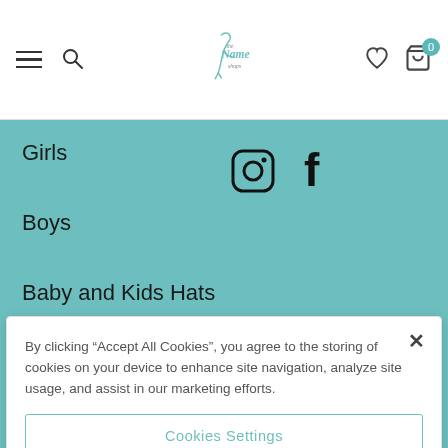The Name Shops — navigation header with hamburger menu, search, logo, heart/cart icons
Girls
Boys
Baby and Kids Hats
Baby Blankets
[Figure (other): Instagram and Facebook social media icons in teal menu area]
By clicking “Accept All Cookies”, you agree to the storing of cookies on your device to enhance site navigation, analyze site usage, and assist in our marketing efforts.
Cookies Settings
Reject All